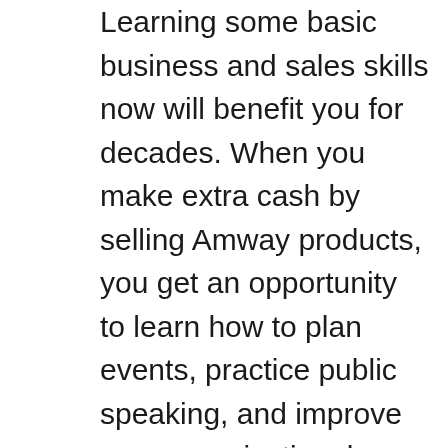Learning some basic business and sales skills now will benefit you for decades. When you make extra cash by selling Amway products, you get an opportunity to learn how to plan events, practice public speaking, and improve your organizational skills. No matter what career path you follow after graduation, these skills will help you find a lucrative position.

Selling Amway products also has many of the same benefits that you get from driving for a ridesharing company. You can set your own hours, meet new people, and earn money without neglecting your